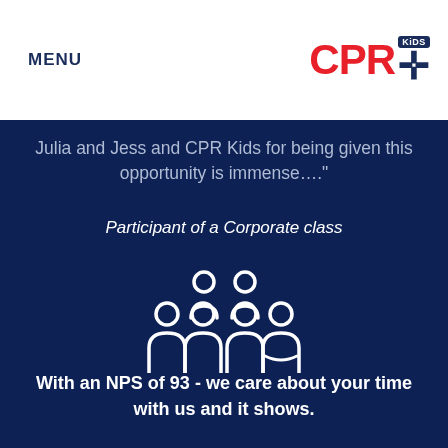MENU
[Figure (logo): CPR Kids logo with red CPR text and dark blue cross/plus symbol with KiDS badge]
Julia and Jess and CPR Kids for being given this opportunity is immense…."
Participant of a Corporate class
[Figure (illustration): White outline icons of a group of people (5 figures) on dark blue background]
With an NPS of 93 - we care about your time with us and it shows.